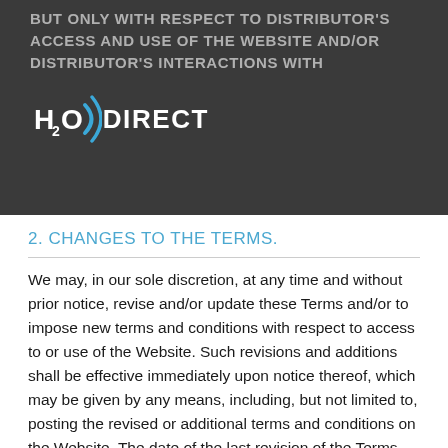BUT ONLY WITH RESPECT TO DISTRIBUTOR'S ACCESS AND USE OF THE WEBSITE AND/OR DISTRIBUTOR'S INTERACTIONS WITH
[Figure (logo): H2O Direct logo with blue circular wave icon and white bold text 'H2O DIRECT' on dark background]
2. CHANGES TO THE TERMS.
We may, in our sole discretion, at any time and without prior notice, revise and/or update these Terms and/or to impose new terms and conditions with respect to access to or use of the Website. Such revisions and additions shall be effective immediately upon notice thereof, which may be given by any means, including, but not limited to, posting the revised or additional terms and conditions on the Website. The date of the last revision of the Terms will appear at the top of these Terms. You are responsible for reviewing the Website periodically for any modification to these